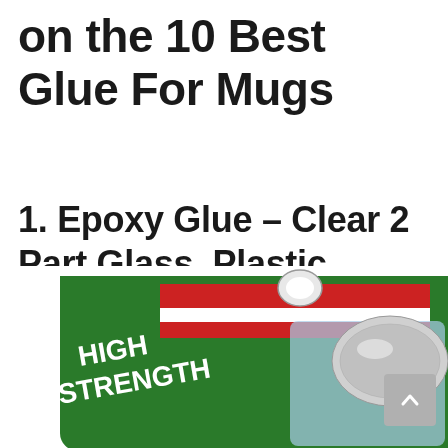on the 10 Best Glue For Mugs
1. Epoxy Glue – Clear 2 Part Glass, Plastic, Jewelry, Ceramic, Metal, Stone and Porcelain Adhesive Repair Kit by Pratley
[Figure (photo): Product photo of Pratley Epoxy Glue – High Strength adhesive repair kit packaging, showing green card backing with red/white stripe and product contents]